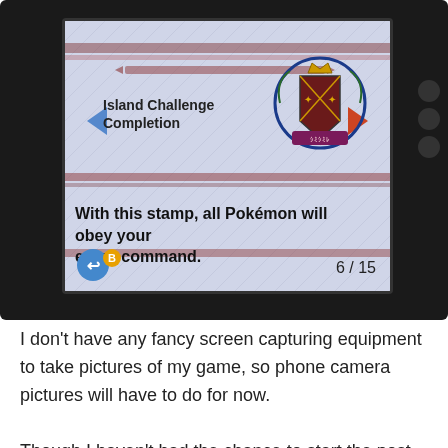[Figure (screenshot): Photo of a Nintendo 3DS screen showing a Pokémon Sun/Moon Island Challenge Completion stamp. The stamp reads 'Island Challenge Completion' with a decorative crest/emblem on the right. Text below the stamp reads 'With this stamp, all Pokémon will obey your every command.' Page indicator shows 6/15 in the bottom right.]
I don't have any fancy screen capturing equipment to take pictures of my game, so phone camera pictures will have to do for now.
Though I haven't had the chance to start the post-game